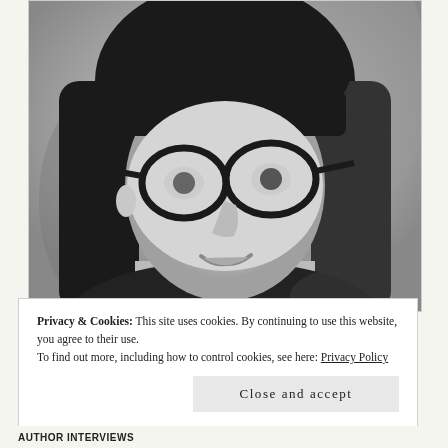[Figure (photo): Black and white portrait photo of a young woman with dark hair and bangs, wearing large black cat-eye glasses, looking slightly upward, wearing a dark patterned top]
Privacy & Cookies: This site uses cookies. By continuing to use this website, you agree to their use.
To find out more, including how to control cookies, see here: Privacy Policy
Close and accept
AUTHOR INTERVIEWS